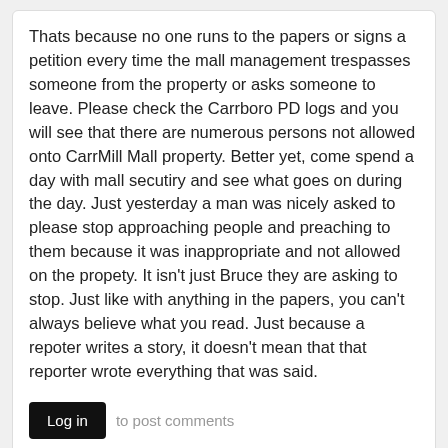Thats because no one runs to the papers or signs a petition every time the mall management trespasses someone from the property or asks someone to leave. Please check the Carrboro PD logs and you will see that there are numerous persons not allowed onto CarrMill Mall property. Better yet, come spend a day with mall secutiry and see what goes on during the day. Just yesterday a man was nicely asked to please stop approaching people and preaching to them because it was inappropriate and not allowed on the propety. It isn't just Bruce they are asking to stop. Just like with anything in the papers, you can't always believe what you read. Just because a repoter writes a story, it doesn't mean that that reporter wrote everything that was said.
Log in to post comments
I see that particular point
Submitted by elizabeth liptzin (not verified) on August 2, 2006 - 4:13pm